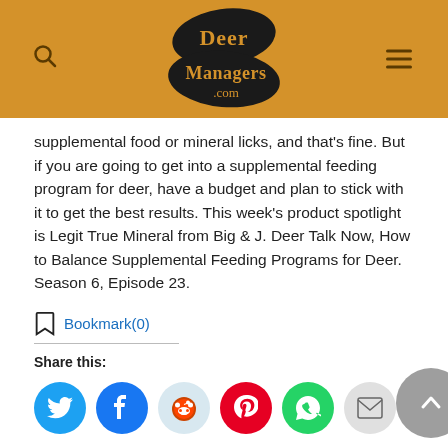[Figure (logo): DeerManagers.com logo — dark oval shapes with yellow serif text, on a golden/amber header bar with search and menu icons]
supplemental food or mineral licks, and that's fine. But if you are going to get into a supplemental feeding program for deer, have a budget and plan to stick with it to get the best results. This week's product spotlight is Legit True Mineral from Big & J. Deer Talk Now, How to Balance Supplemental Feeding Programs for Deer. Season 6, Episode 23.
Bookmark(0)
Share this: